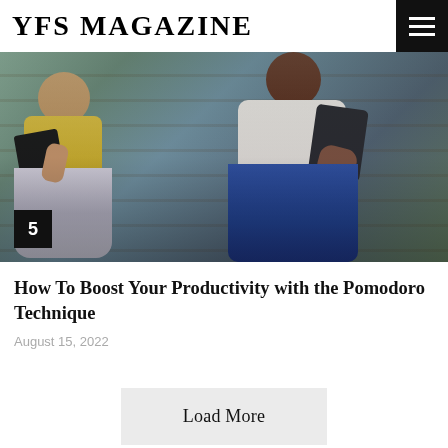YFS MAGAZINE
[Figure (photo): Two people sitting side by side, one in a floral skirt holding a book, one in a white shirt holding a tablet or book, on a wooden surface with striped background]
How To Boost Your Productivity with the Pomodoro Technique
August 15, 2022
Load More